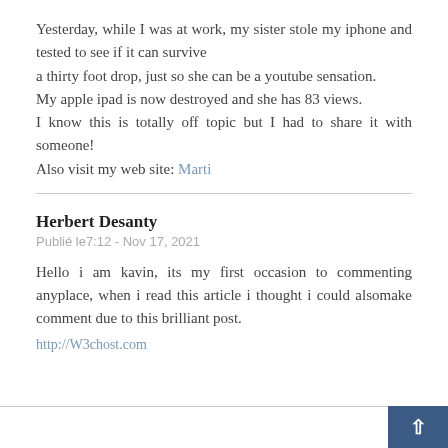Yesterday, while I was at work, my sister stole my iphone and tested to see if it can survive a thirty foot drop, just so she can be a youtube sensation. My apple ipad is now destroyed and she has 83 views. I know this is totally off topic but I had to share it with someone! Also visit my web site: Marti
Herbert Desanty
Publié le7:12 - Nov 17, 2021
Hello i am kavin, its my first occasion to commenting anyplace, when i read this article i thought i could alsomake comment due to this brilliant post.
http://W3chost.com